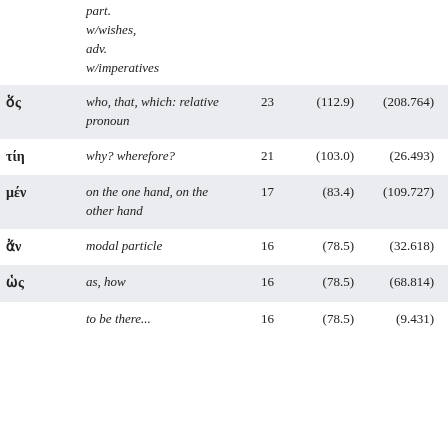| word | definition | n | v1 | v2 | v3 |
| --- | --- | --- | --- | --- | --- |
|  | part. w/wishes, adv. w/imperatives |  |  |  |  |
| ὅς | who, that, which: relative pronoun | 23 | (112.9) | (208.764) | (194.16) |
| τίη | why? wherefore? | 21 | (103.0) | (26.493) | (13.95) |
| μέν | on the one hand, on the other hand | 17 | (83.4) | (109.727) | (118.8) |
| ἄν | modal particle | 16 | (78.5) | (32.618) | (38.42) |
| ὡς | as, how | 16 | (78.5) | (68.814) | (63.16) |
|  | to be there... | 16 | (78.5) | (9.431) | (9.73) |